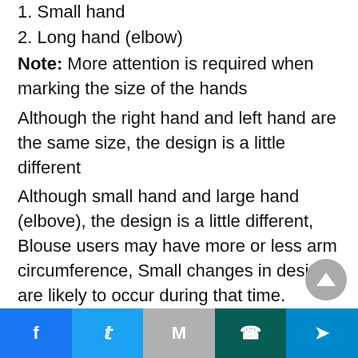1. Small hand
2. Long hand (elbow)
Note: More attention is required when marking the size of the hands
Although the right hand and left hand are the same size, the design is a little different
Although small hand and large hand (elbove), the design is a little different, Blouse users may have more or less arm circumference, Small changes in design are likely to occur during that time.
Step 10 :
More attention needs to be paid to the design of the hand part in the blouse, take a look at the hand
Facebook | Twitter | Gmail | WhatsApp | Send